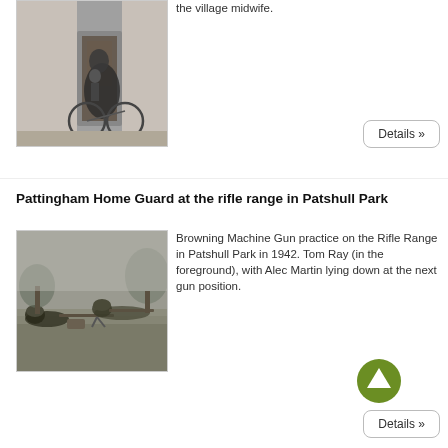[Figure (photo): Black and white photo of a woman on a bicycle at a doorway, the village midwife]
the village midwife.
Details »
Pattingham Home Guard at the rifle range in Patshull Park
[Figure (photo): Black and white photo of soldiers practicing with a Browning Machine Gun at Patshull Park rifle range in 1942]
Browning Machine Gun practice on the Rifle Range in Patshull Park in 1942. Tom Ray (in the foreground), with Alec Martin lying down at the next gun position.
Details »